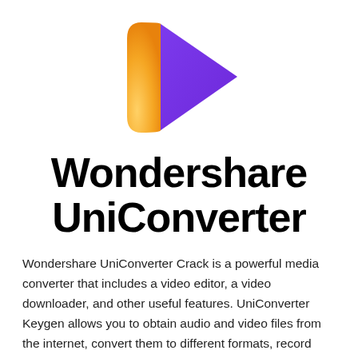[Figure (logo): Wondershare UniConverter logo — a play-button triangle shape with orange-to-yellow gradient on the left side and purple on the right side]
Wondershare UniConverter
Wondershare UniConverter Crack is a powerful media converter that includes a video editor, a video downloader, and other useful features. UniConverter Keygen allows you to obtain audio and video files from the internet, convert them to different formats, record screen actions while concurrently recording audio, and burn and transfer media